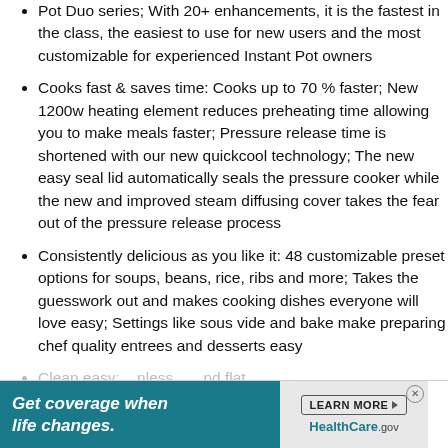Pot Duo series; With 20+ enhancements, it is the fastest in the class, the easiest to use for new users and the most customizable for experienced Instant Pot owners
Cooks fast & saves time: Cooks up to 70 % faster; New 1200w heating element reduces preheating time allowing you to make meals faster; Pressure release time is shortened with our new quickcool technology; The new easy seal lid automatically seals the pressure cooker while the new and improved steam diffusing cover takes the fear out of the pressure release process
Consistently delicious as you like it: 48 customizable preset options for soups, beans, rice, ribs and more; Takes the guesswork out and makes cooking dishes everyone will love easy; Settings like sous vide and bake make preparing chef quality entrees and desserts easy
C... (partially obscured) ...nless... ...nd flat
[Figure (infographic): Advertisement banner: 'Get coverage when life changes.' with LEARN MORE button and HealthCare.gov branding, close button (x)]